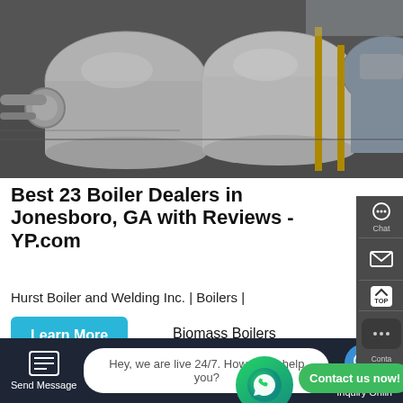[Figure (photo): Industrial boiler room with large cylindrical white boilers and yellow pipe supports]
Best 23 Boiler Dealers in Jonesboro, GA with Reviews - YP.com
Hurst Boiler and Welding Inc. | Boilers | Biomass Boilers
Learn More
[Figure (photo): Industrial boiler equipment indoors with circular boiler front visible]
Contact us now!
Hey, we are live 24/7. How may I help you?
Send Message
Inquiry Online